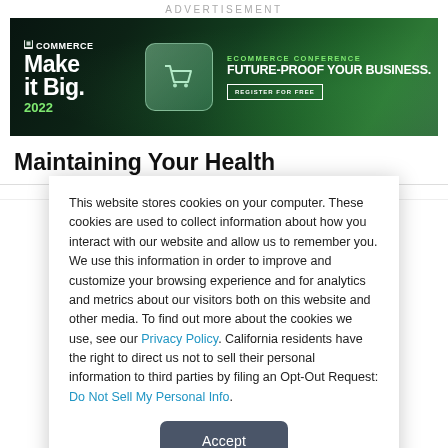ADVERTISEMENT
[Figure (illustration): BigCommerce 'Make it Big 2022' ecommerce conference advertisement banner. Left: BigCommerce logo, 'Make it Big. 2022' in white/green text. Center: glowing shopping cart icon on frosted glass card. Right: 'ECOMMERCE CONFERENCE' in green, 'FUTURE-PROOF YOUR BUSINESS.' in white bold, 'REGISTER FOR FREE' button outlined in white. Dark green gradient background.]
Maintaining Your Health
This website stores cookies on your computer. These cookies are used to collect information about how you interact with our website and allow us to remember you. We use this information in order to improve and customize your browsing experience and for analytics and metrics about our visitors both on this website and other media. To find out more about the cookies we use, see our Privacy Policy. California residents have the right to direct us not to sell their personal information to third parties by filing an Opt-Out Request: Do Not Sell My Personal Info.
Accept